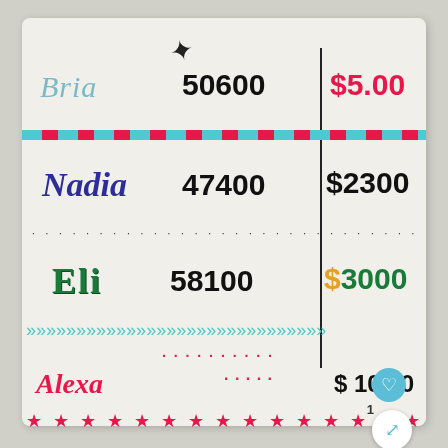[Figure (photo): Whiteboard/poster showing names with scores and dollar prices: Bria 50600 $5.00, Nadia 47400 $2300, Eli 58100 $3000, Alexa [score] $10.00. Decorated with colored stripes, dots, chevrons, and stars.]
Bria   50600   $5.00
Nadia   47400   $2300
Eli   58100   $3000
Alexa   $10.00